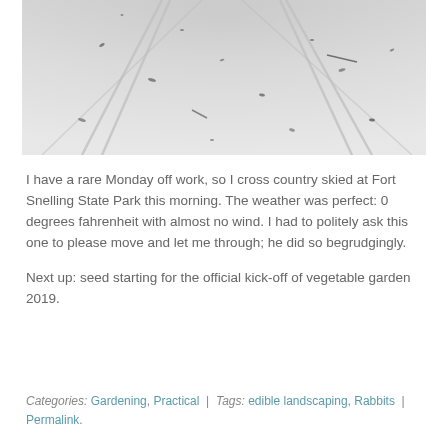[Figure (photo): Snowy landscape with ski tracks converging toward a vanishing point; small dark debris scattered across the snow surface.]
I have a rare Monday off work, so I cross country skied at Fort Snelling State Park this morning. The weather was perfect: 0 degrees fahrenheit with almost no wind. I had to politely ask this one to please move and let me through; he did so begrudgingly.
Next up: seed starting for the official kick-off of vegetable garden 2019.
Categories: Gardening, Practical | Tags: edible landscaping, Rabbits | Permalink.